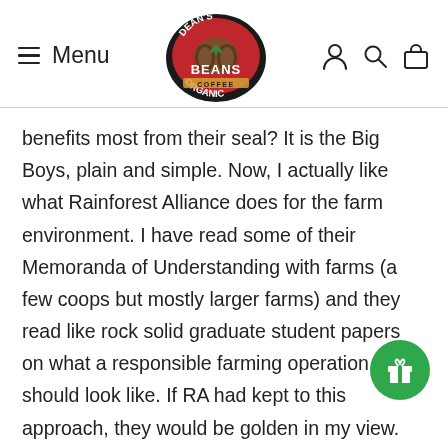Menu | Dean's Organic Beans Coffee logo | [account icon] [search icon] [cart icon]
benefits most from their seal? It is the Big Boys, plain and simple. Now, I actually like what Rainforest Alliance does for the farm environment. I have read some of their Memoranda of Understanding with farms (a few coops but mostly larger farms) and they read like rock solid graduate student papers on what a responsible farming operation should look like. If RA had kept to this approach, they would be golden in my view. But, no!, they had to move into social standards as well (hmm, did the Big Boys want to steal the mantle of fair trade?), claiming that the farms with RA certification took care of their workers. The devil, my